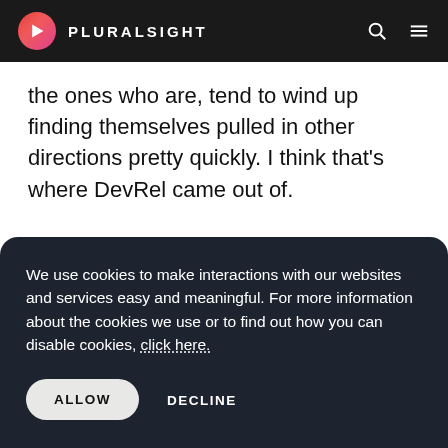PLURALSIGHT
the ones who are, tend to wind up finding themselves pulled in other directions pretty quickly. I think that's where DevRel came out of.
00:36:05.6 Jeremy Morgan
Yeah, absolutely. So, do you have any projects
We use cookies to make interactions with our websites and services easy and meaningful. For more information about the cookies we use or to find out how you can disable cookies, click here.
ALLOW    DECLINE